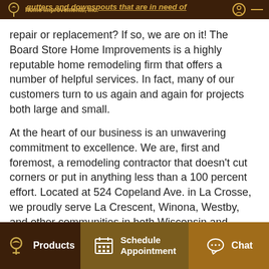gutters and downspouts that are in need of
repair or replacement? If so, we are on it! The Board Store Home Improvements is a highly reputable home remodeling firm that offers a number of helpful services. In fact, many of our customers turn to us again and again for projects both large and small.
At the heart of our business is an unwavering commitment to excellence. We are, first and foremost, a remodeling contractor that doesn't cut corners or put in anything less than a 100 percent effort. Located at 524 Copeland Ave. in La Crosse, we proudly serve La Crescent, Winona, Westby, and other communities in both Wisconsin and Minnesota.
Products | Schedule Appointment | Chat